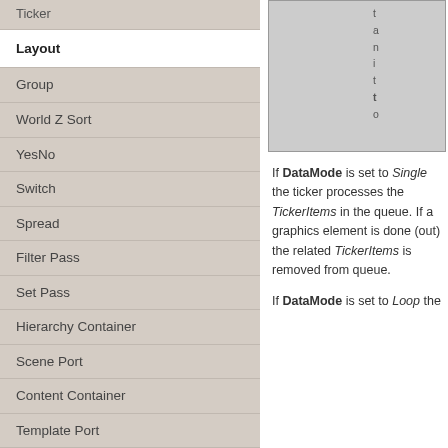Ticker
Layout
Group
World Z Sort
YesNo
Switch
Spread
Filter Pass
Set Pass
Hierarchy Container
Scene Port
Content Container
Template Port
Container Info
Camera
Paths
Advanced and Development
[Figure (screenshot): A screenshot of a UI panel, partially visible at top right]
If DataMode is set to Single the ticker processes the TickerItems in the queue. If a graphics element is done (out) the related TickerItems is removed from queue.
If DataMode is set to Loop the Ticker...